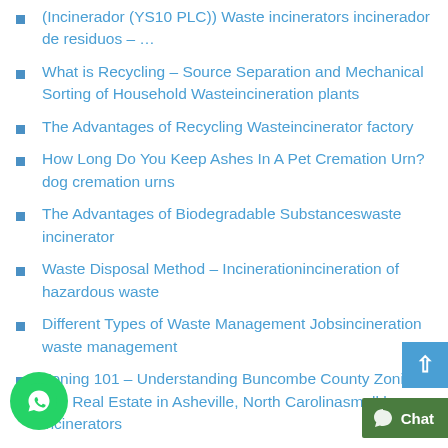(Incinerador (YS10 PLC)) Waste incinerators incinerador de residuos – …
What is Recycling – Source Separation and Mechanical Sorting of Household Wasteincineration plants
The Advantages of Recycling Wasteincinerator factory
How Long Do You Keep Ashes In A Pet Cremation Urn?dog cremation urns
The Advantages of Biodegradable Substanceswaste incinerator
Waste Disposal Method – Incinerationincineration of hazardous waste
Different Types of Waste Management Jobsincineration waste management
Zoning 101 – Understanding Buncombe County Zoning and Real Estate in Asheville, North Carolinasmall home incinerators
Waste Disposal Management – 3 Methods For